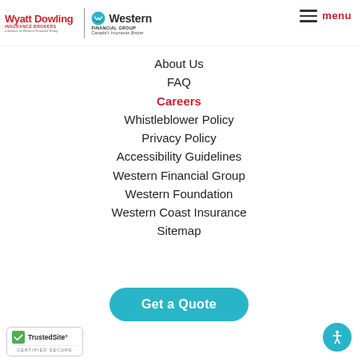[Figure (logo): Wyatt Dowling Insurance Brokers logo (red text) with divider and Western Financial Group logo (teal icon, black text, Canada's Insurance Broker tagline)]
About Us
FAQ
Careers
Whistleblower Policy
Privacy Policy
Accessibility Guidelines
Western Financial Group
Western Foundation
Western Coast Insurance
Sitemap
Get a Quote
[Figure (logo): TrustedSite Certified Secure badge]
[Figure (other): Accessibility icon button (teal circle with person symbol)]